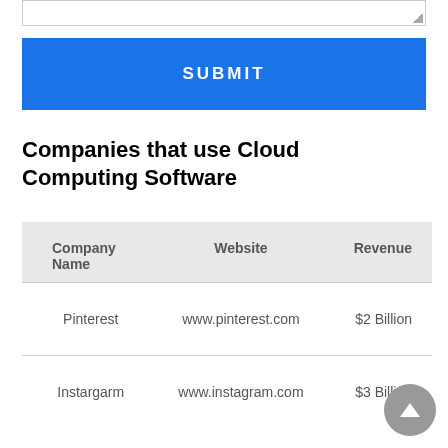[Figure (other): Textarea stub at top of page with resize handle]
SUBMIT
Companies that use Cloud Computing Software
| Company Name | Website | Revenue |
| --- | --- | --- |
| Pinterest | www.pinterest.com | $2 Billion |
| Instargarm | www.instagram.com | $3 Billion |